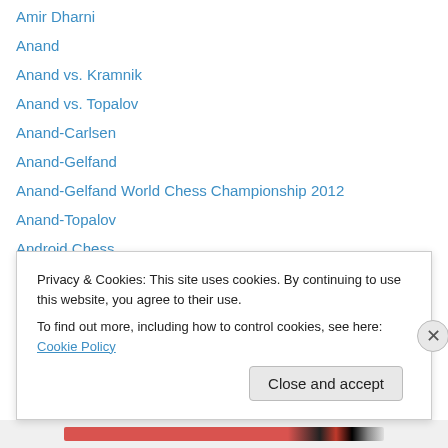Amir Dharni
Anand
Anand vs. Kramnik
Anand vs. Topalov
Anand-Carlsen
Anand-Gelfand
Anand-Gelfand World Chess Championship 2012
Anand-Topalov
Android Chess
Annie Wang
Anthony Zhou
aryan dawra
Ashik Uzzaman
Azhar chess
Privacy & Cookies: This site uses cookies. By continuing to use this website, you agree to their use.
To find out more, including how to control cookies, see here: Cookie Policy
Close and accept